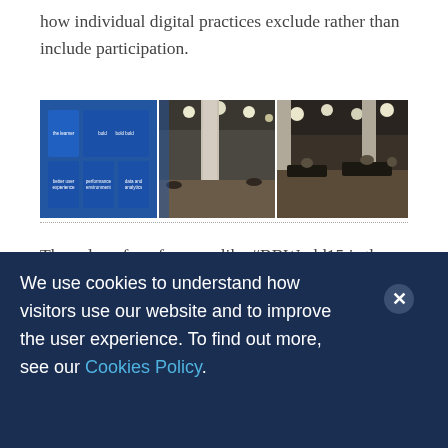how individual digital practices exclude rather than include participation.
[Figure (photo): Three-panel photo strip: left panel shows a presentation slide with blue grid layout, middle panel shows a large conference hall interior with ceiling lights, right panel shows another view of the conference hall with attendees at tables.]
The value of conferences like #BBWorld15 is the
We use cookies to understand how visitors use our website and to improve the user experience. To find out more, see our Cookies Policy.